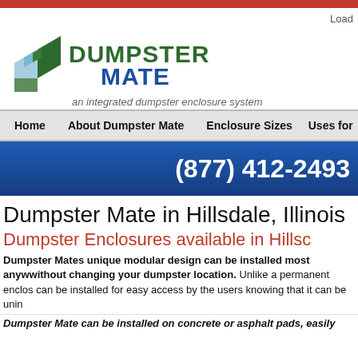Load
[Figure (logo): Dumpster Mate logo with green and blue diamond/cube icon and text 'DUMPSTER MATE an integrated dumpster enclosure system']
Home  About Dumpster Mate  Enclosure Sizes  Uses for
(877) 412-2493
Dumpster Mate in Hillsdale, Illinois
Dumpster Enclosures available in Hillsdale
Dumpster Mates unique modular design can be installed most anywhere without changing your dumpster location. Unlike a permanent enclosure, can be installed for easy access by the users knowing that it can be uninst
Dumpster Mate can be installed on concrete or asphalt pads, easily